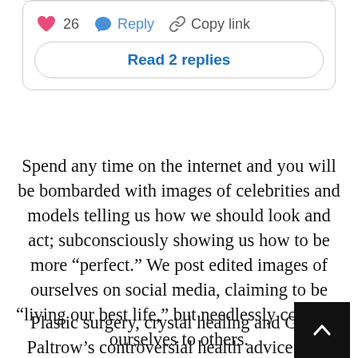[Figure (screenshot): Social media comment card with heart (26 likes), Reply button, Copy link button, and Read 2 replies button]
Spend any time on the internet and you will be bombarded with images of celebrities and models telling us how we should look and act; subconsciously showing us how to be more “perfect.” We post edited images of ourselves on social media, claiming to be “living our best life,” but needlessly compare ourselves to others.
Plastic surgery, crystal healing and Gwer Paltrow’s controversial health advice have